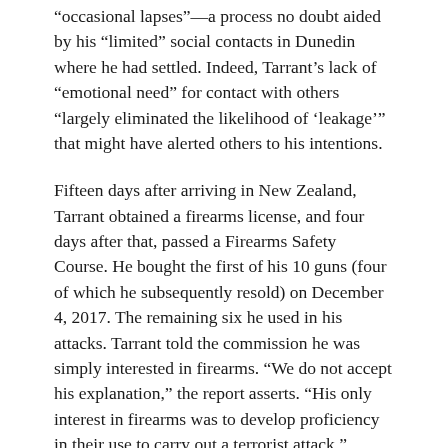“occasional lapses”—a process no doubt aided by his “limited” social contacts in Dunedin where he had settled. Indeed, Tarrant’s lack of “emotional need” for contact with others “largely eliminated the likelihood of ‘leakage’” that might have alerted others to his intentions.
Fifteen days after arriving in New Zealand, Tarrant obtained a firearms license, and four days after that, passed a Firearms Safety Course. He bought the first of his 10 guns (four of which he subsequently resold) on December 4, 2017. The remaining six he used in his attacks. Tarrant told the commission he was simply interested in firearms. “We do not accept his explanation,” the report asserts. “His only interest in firearms was to develop proficiency in their use to carry out a terrorist attack.”
With the benefit of hindsight, Tarrant’s behavior at the shooting ranges he frequented confirms this: he usually shot standing up and went through a large amount of ammunition. His “primary interest” was “firing at extremely fast rates and changing magazines quickly.” Still,